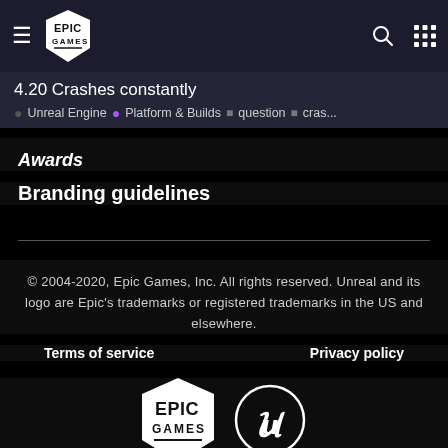4.20 Crashes constantly · Unreal Engine · Platform & Builds · question · cras...
Awards
Branding guidelines
© 2004-2020, Epic Games, Inc. All rights reserved. Unreal and its logo are Epic's trademarks or registered trademarks in the US and elsewhere.
Terms of service
Privacy policy
[Figure (logo): Epic Games shield logo and Unreal Engine circular logo]